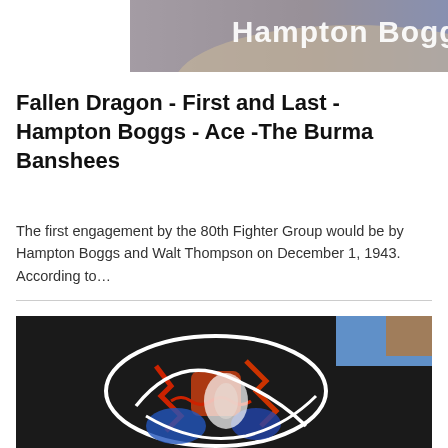[Figure (photo): Top portion of a photo showing 'Hampton Boggs' text in white on a blue/grey background]
Fallen Dragon - First and Last - Hampton Boggs - Ace -The Burma Banshees
The first engagement by the 80th Fighter Group would be by Hampton Boggs and Walt Thompson on December 1, 1943. According to…
[Figure (photo): Close-up photo of a military jacket or leather item showing a painted squadron emblem with red, blue, orange and white cartoon/artwork design on black background]